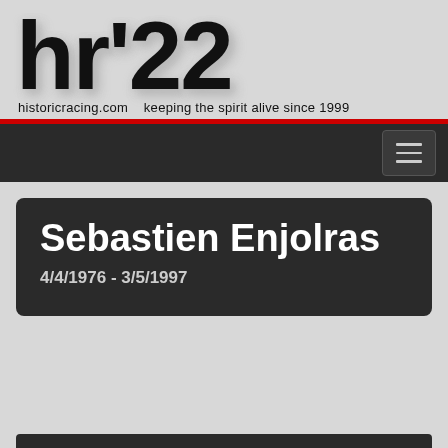hr'22 historicracing.com  keeping the spirit alive since 1999
Sebastien Enjolras
4/4/1976 - 3/5/1997